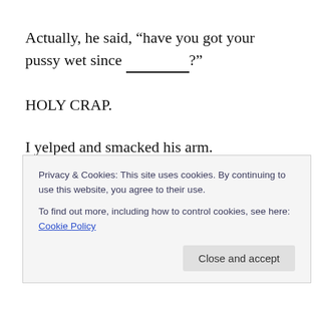Actually, he said, “have you got your pussy wet since ____________?"
HOLY CRAP.
I yelped and smacked his arm.
Then he said, “give me your phone, there’s got to be someone on here who wants to have sex with you.”
Privacy & Cookies: This site uses cookies. By continuing to use this website, you agree to their use.
To find out more, including how to control cookies, see here: Cookie Policy